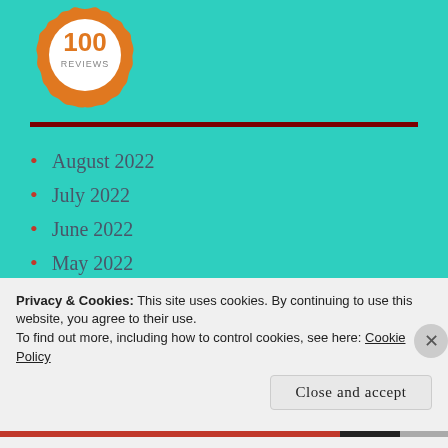[Figure (logo): Orange badge/seal with '100 REVIEWS' text in orange on white background]
August 2022
July 2022
June 2022
May 2022
April 2022
March 2022
Privacy & Cookies: This site uses cookies. By continuing to use this website, you agree to their use.
To find out more, including how to control cookies, see here: Cookie Policy
Close and accept